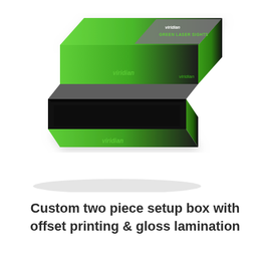[Figure (photo): A custom two piece setup box with green and dark gray gradient finish, showing the lid lifted and placed behind the base. The box features the Viridian brand logo and 'Green Laser Sights' text on the lid. The interior is black.]
Custom two piece setup box with offset printing & gloss lamination